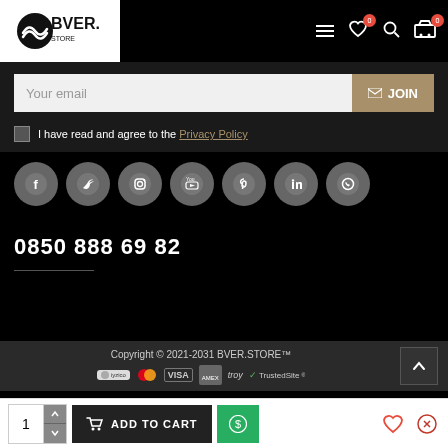BVER. store header with logo, hamburger menu, wishlist (0), search, and cart (0)
Your email | JOIN
I have read and agree to the Privacy Policy
[Figure (illustration): Social media icons: Facebook, Twitter, Instagram, YouTube, Pinterest, LinkedIn, WhatsApp]
0850 888 69 82
Copyright © 2021-2031 BVER.STORE™ | Payment icons: iyzico, Mastercard, VISA, American Express, troy, TrustedSite
1 | ADD TO CART